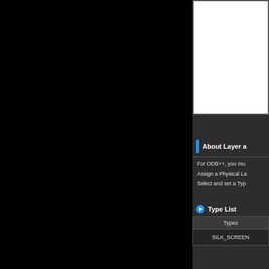[Figure (screenshot): White image/screenshot area in upper right panel]
About Layer a
For ODB++, you mu
Assign a Physical La
Select and set a Typ
Type List
| Types |
| --- |
| SILK_SCREEN |